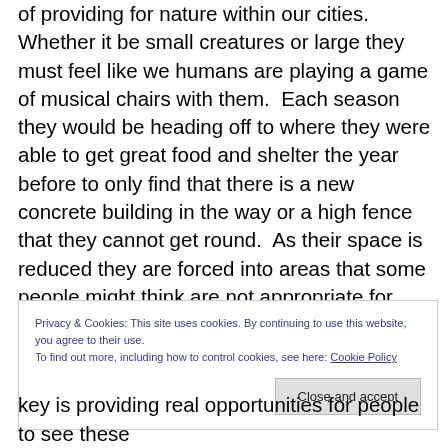of providing for nature within our cities.  Whether it be small creatures or large they must feel like we humans are playing a game of musical chairs with them.  Each season they would be heading off to where they were able to get great food and shelter the year before to only find that there is a new concrete building in the way or a high fence that they cannot get round.  As their space is reduced they are forced into areas that some people might think are not appropriate for them to be and this stresses out both the creature and the human.
Privacy & Cookies: This site uses cookies. By continuing to use this website, you agree to their use.
To find out more, including how to control cookies, see here: Cookie Policy
key is providing real opportunities for people to see these